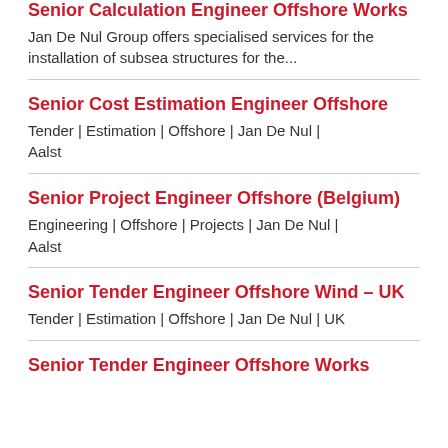Senior Calculation Engineer Offshore Works
Jan De Nul Group offers specialised services for the installation of subsea structures for the...
Senior Cost Estimation Engineer Offshore
Tender | Estimation | Offshore | Jan De Nul | Aalst
Senior Project Engineer Offshore (Belgium)
Engineering | Offshore | Projects | Jan De Nul | Aalst
Senior Tender Engineer Offshore Wind – UK
Tender | Estimation | Offshore | Jan De Nul | UK
Senior Tender Engineer Offshore Works